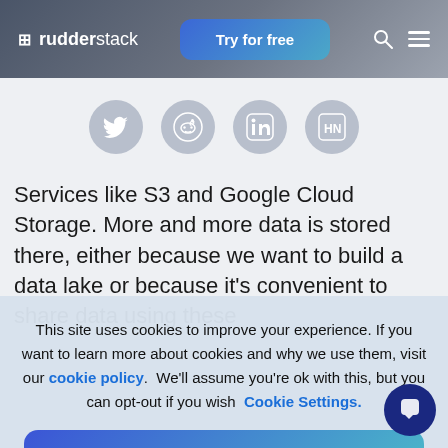rudderstack — Try for free
[Figure (infographic): Social sharing icons: Twitter, Reddit, LinkedIn, Hacker News — circular grey icons in a row]
Services like S3 and Google Cloud Storage. More and more data is stored there, either because we want to build a data lake or because it's convenient to share data using these
This site uses cookies to improve your experience. If you want to learn more about cookies and why we use them, visit our cookie policy.  We'll assume you're ok with this, but you can opt-out if you wish  Cookie Settings.
Accept